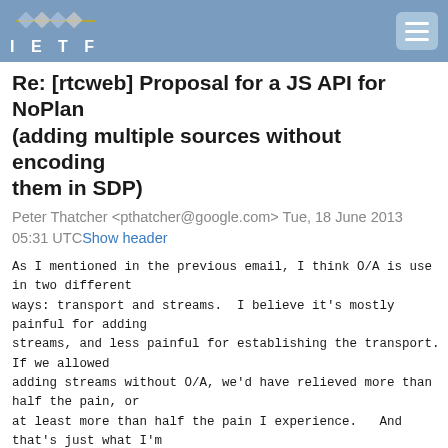IETF
Re: [rtcweb] Proposal for a JS API for NoPlan (adding multiple sources without encoding them in SDP)
Peter Thatcher <pthatcher@google.com> Tue, 18 June 2013 05:31 UTCShow header
As I mentioned in the previous email, I think O/A is use
in two different
ways: transport and streams.  I believe it's mostly
painful for adding
streams, and less painful for establishing the transport.
If we allowed
adding streams without O/A, we'd have relieved more than
half the pain, or
at least more than half the pain I experience.   And
that's just what I'm
proposing we allow with
createLocalStream/createRemoteStream.
On Mon, Jun 17, 2013 at 9:01 PM, Martin Thomson
<martin.thomson@gmail.com>wrote:wrote: